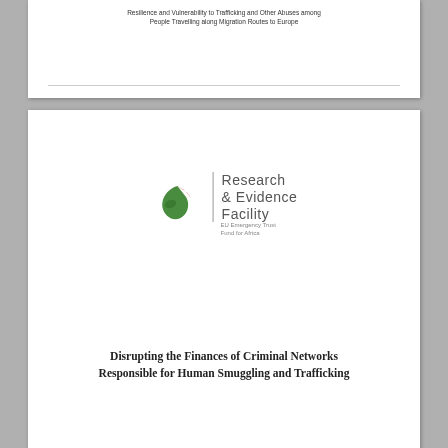Resilience and Vulnerability to Trafficking and Other Abuses among People Travelling along Migration Routes to Europe
[Figure (logo): Research & Evidence Facility - EU Emergency Trust Fund for Africa logo with stylized bird in green and red]
Disrupting the Finances of Criminal Networks Responsible for Human Smuggling and Trafficking
1 February 2019
[Figure (logo): UNDP logo - United Nations Development Programme dark blue square logo]
SCALING FENCES: VOICES OF IRREGULAR AFRICAN MIGRANTS TO EUROPE